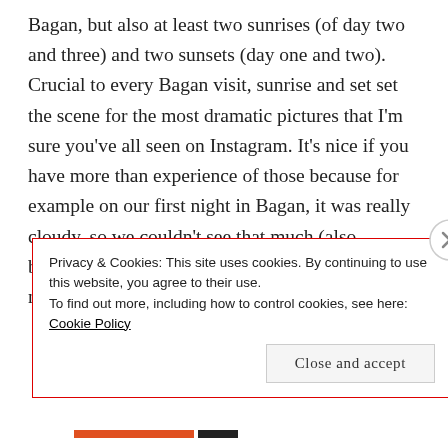Bagan, but also at least two sunrises (of day two and three) and two sunsets (day one and two). Crucial to every Bagan visit, sunrise and set set the scene for the most dramatic pictures that I'm sure you've all seen on Instagram. It's nice if you have more than experience of those because for example on our first night in Bagan, it was really cloudy, so we couldn't see that much (also because we were stranded in the middle of nowhere with our scooter).
Privacy & Cookies: This site uses cookies. By continuing to use this website, you agree to their use.
To find out more, including how to control cookies, see here: Cookie Policy
Close and accept